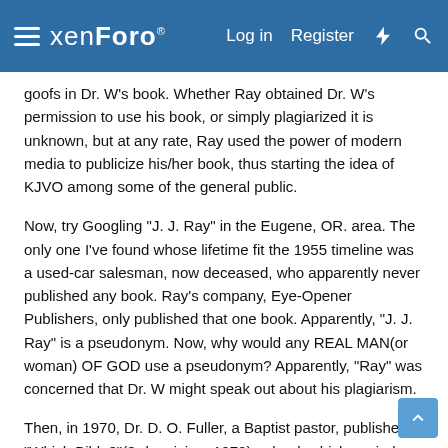xenForo — Log in | Register
goofs in Dr. W's book. Whether Ray obtained Dr. W's permission to use his book, or simply plagiarized it is unknown, but at any rate, Ray used the power of modern media to publicize his/her book, thus starting the idea of KJVO among some of the general public.
Now, try Googling "J. J. Ray" in the Eugene, OR. area. The only one I've found whose lifetime fit the 1955 timeline was a used-car salesman, now deceased, who apparently never published any book. Ray's company, Eye-Opener Publishers, only published that one book. Apparently, "J. J. Ray" is a pseudonym. Now, why would any REAL MAN(or woman) OF GOD use a pseudonym? Apparently, "Ray" was concerned that Dr. W might speak out about his plagiarism.
Then, in 1970, Dr. D. O. Fuller, a Baptist pastor, published "Which Bible?"(3rd revision, 1972), a book which copied much from both Ray and Wilkinson, including many of the original goofs. Like W and Ray before him, he didn't bother to check out the accuracy of the sources, but simply passed on the errors.